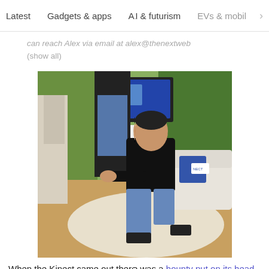Latest   Gadgets & apps   AI & futurism   EVs & mobil  >
can reach Alex via email at alex@thenextweb (show all)
[Figure (photo): A man in a black jacket and jeans crouching in a gaming pose in front of a Microsoft Kinect display area, with other people and a TV screen visible in the background.]
When the Kinect came out there was a bounty put on its head, for "the first person or group to upload